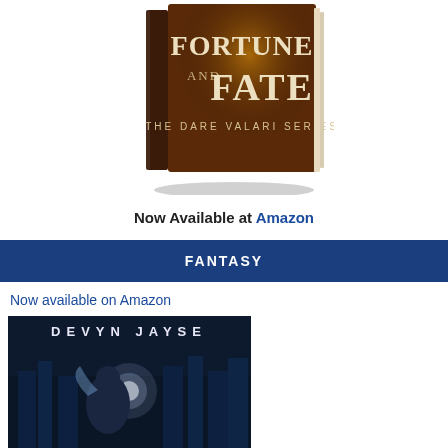[Figure (photo): Book cover image of 'Fortune and Fate - The Dare Valari Series' shown as a 3D book, with dark fantasy art featuring text on a dark golden/reddish background]
Now Available at Amazon
FANTASY
Now available on Amazon
[Figure (photo): Book cover image by Devyn Jayse showing a dark figure with wings in a blue urban nighttime setting]